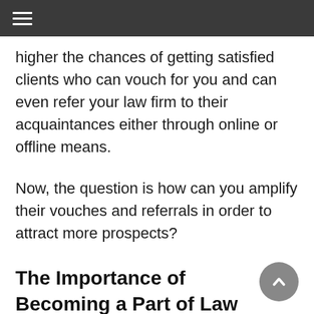≡
higher the chances of getting satisfied clients who can vouch for you and can even refer your law firm to their acquaintances either through online or offline means.
Now, the question is how can you amplify their vouches and referrals in order to attract more prospects?
The Importance of Becoming a Part of Law